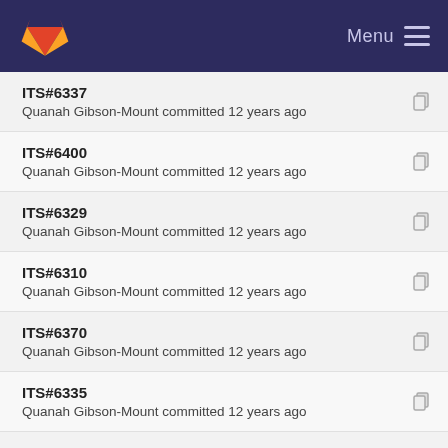Menu
ITS#6337
Quanah Gibson-Mount committed 12 years ago
ITS#6400
Quanah Gibson-Mount committed 12 years ago
ITS#6329
Quanah Gibson-Mount committed 12 years ago
ITS#6310
Quanah Gibson-Mount committed 12 years ago
ITS#6370
Quanah Gibson-Mount committed 12 years ago
ITS#6335
Quanah Gibson-Mount committed 12 years ago
ITS#6376
Quanah Gibson-Mount committed 12 years ago
ITS#6346
Quanah Gibson-Mount committed 12 years ago